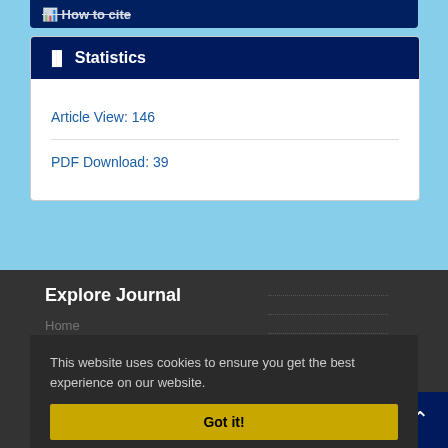How to cite
Statistics
Article View: 146
PDF Download: 39
Explore Journal
Home
About Journal
Editorial Board
Submit Manuscript
Contact Us
This website uses cookies to ensure you get the best experience on our website.
Got it!